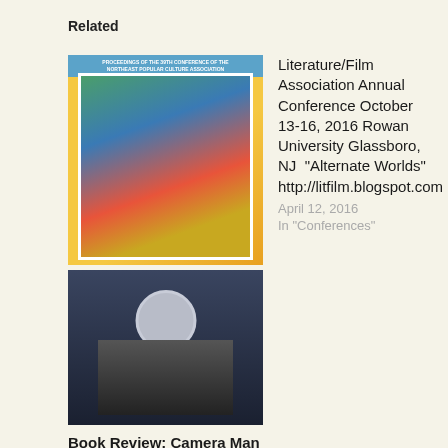Related
[Figure (photo): Book cover for NEPCA Publication: Pop Culture Matters - shows a colorful painted face (Breaking Bad style) on yellow background with conference proceedings header in blue]
NEPCA Publication: Pop Culture Matters
April 14, 2019
In "Announcements"
Literature/Film Association Annual Conference October 13-16, 2016 Rowan University Glassboro, NJ  "Alternate Worlds" http://litfilm.blogspot.com
April 12, 2016
In "Conferences"
[Figure (photo): Book cover for Book Review: Camera Man (2022) - dark background showing a person in a space suit/helmet, black and white style]
Book Review: Camera Man (2022)